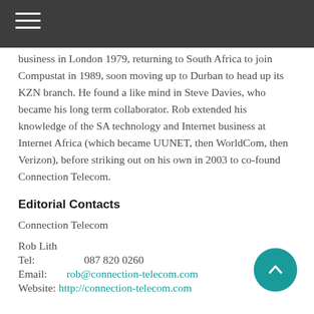business in London 1979, returning to South Africa to join Compustat in 1989, soon moving up to Durban to head up its KZN branch. He found a like mind in Steve Davies, who became his long term collaborator. Rob extended his knowledge of the SA technology and Internet business at Internet Africa (which became UUNET, then WorldCom, then Verizon), before striking out on his own in 2003 to co-found Connection Telecom.
Editorial Contacts
Connection Telecom
Rob Lith
Tel:       087 820 0260
Email:   rob@connection-telecom.com
Website: http://connection-telecom.com